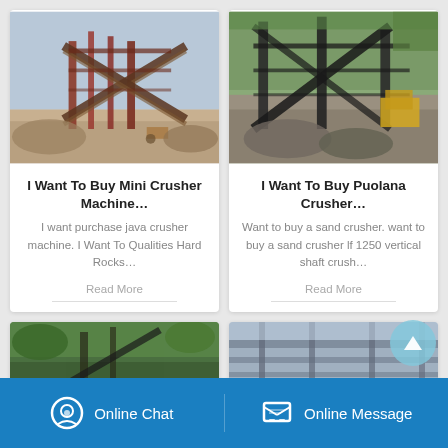[Figure (photo): Industrial crusher/mining facility with red metal framework and conveyor belts, outdoor setting]
I Want To Buy Mini Crusher Machine…
I want purchase java crusher machine. I Want To Qualities Hard Rocks…
Read More
[Figure (photo): Outdoor quarry/crusher site with large equipment, gravel piles, and trees in background]
I Want To Buy Puolana Crusher…
Want to buy a sand crusher. want to buy a sand crusher lf 1250 vertical shaft crush…
Read More
[Figure (photo): Lower left card partial image - green foliage and machinery]
[Figure (photo): Lower right card partial image - metal structure/roof]
Online Chat   Online Message